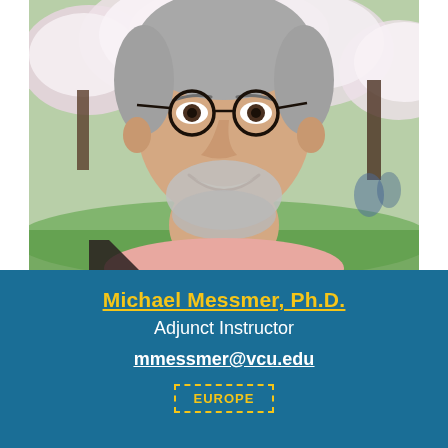[Figure (photo): Headshot photo of an older man with grey hair and beard, wearing round glasses and a pink sweater, smiling, with blooming white cherry blossom trees in the background.]
Michael Messmer, Ph.D.
Adjunct Instructor
mmessmer@vcu.edu
EUROPE